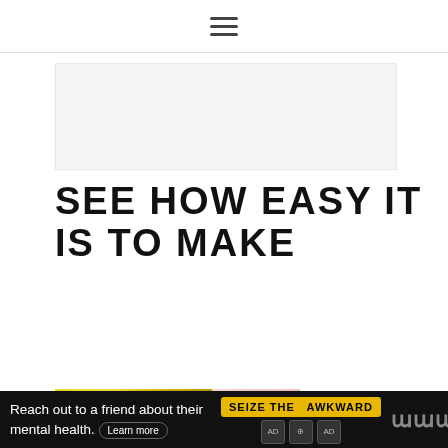≡ (hamburger menu icon)
[Figure (other): Light gray advertisement banner placeholder area]
SEE HOW EASY IT IS TO MAKE
[Figure (infographic): Heart/like button (teal circle with heart icon) showing 3.9K count, and a share button below it]
[Figure (photo): Food photo showing yellow bananas on the left and a pink strawberry smoothie with a blue striped straw in the center, and a red cup on the right]
[Figure (photo): WHAT'S NEXT panel with a thumbnail of Strawberry Muffins]
WHAT'S NEXT → Strawberry Muffins
[Figure (other): Black advertisement banner: 'Reach out to a friend about their mental health. Learn more' with SEIZE THE AWKWARD badge and ad icon logos]